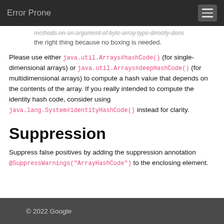Error Prone
the right thing because no boxing is needed.
Please use either java.util.Arrays#hashCode() (for single-dimensional arrays) or java.util.Arrays#deepHashCode() (for multidimensional arrays) to compute a hash value that depends on the contents of the array. If you really intended to compute the identity hash code, consider using java.lang.System#identityHashCode() instead for clarity.
Suppression
Suppress false positives by adding the suppression annotation @SuppressWarnings("ArrayHashCode") to the enclosing element.
© 2022 Google